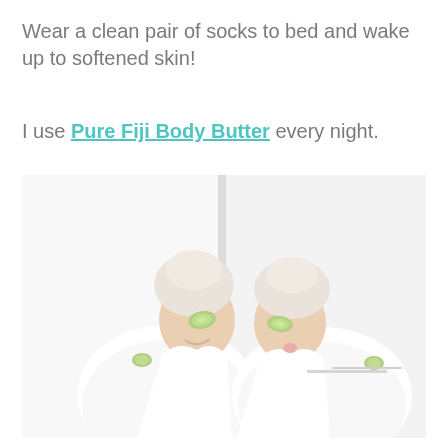Wear a clean pair of socks to bed and wake up to softened skin!
I use Pure Fiji Body Butter every night.
[Figure (photo): Two women in white bathrobes with towels wrapped on their heads, holding cucumber slices up to their eyes and smiling, in a bright white bathroom setting.]